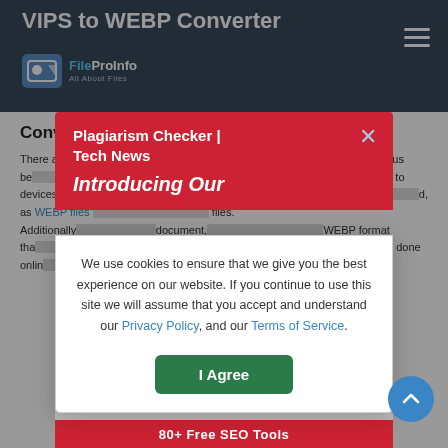VIPS to WEBP Converter
Convert vips to webp online & free
There are many reasons why someone would want to convert a VIPS file to WEBP. Perhaps the most obvious benefit is that a WEBP can be read on any device, whereas a VIPS file is limited to devices that support it. By converting a VIPS to WEBP format, you expand the potential audience, and, as WEBP files are typically smaller than their original files. Additionally, they take less data. You can convert any document, including a VIPS file, to the WEBP format that is most popular. It is a better option than VIPS file to WEBP. This conversion process can be done online and free using our VIPS to WEBP converter.
[Figure (screenshot): Red notification popup with text 'Plagiarism Checker | Tech News' and 'Introducing Our' with close X button, overlaid on the page content]
We use cookies to ensure that we give you the best experience on our website. If you continue to use this site we will assume that you accept and understand our Privacy Policy, and our Terms of Service.
I Agree
80+ Free SEO Tools